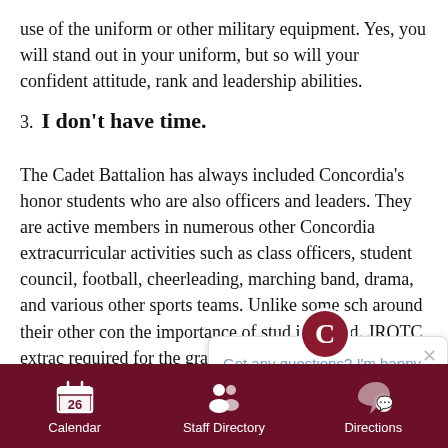use of the uniform or other military equipment. Yes, you will stand out in your uniform, but so will your confident attitude, rank and leadership abilities.
3. I don't have time.
The Cadet Battalion has always included Concordia's honor students who are also officers and leaders. They are active members in numerous other Concordia extracurricular activities such as class officers, student council, football, cheerleading, marching band, drama, and various other sports teams. Unlike some sch... around their other con... the importance of stud... involved. JROTC extrac... required for the grade, but it is only fair that cadet participation in these activities helps them earn their
[Figure (screenshot): Chat bubble overlay with logo icon and text 'Got any questions? I'm happy to help.' with a close button]
Calendar   Staff Directory   Directions